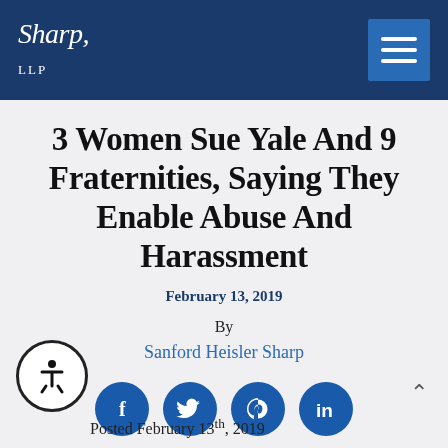Sharp, LLP
3 Women Sue Yale And 9 Fraternities, Saying They Enable Abuse And Harassment
February 13, 2019
By
Sanford Heisler Sharp
[Figure (infographic): Social media share buttons: Facebook, Twitter, Pinterest, LinkedIn (blue circles with white icons)]
[Figure (infographic): Accessibility icon button (circle with person figure)]
Posted February 13th, 2019